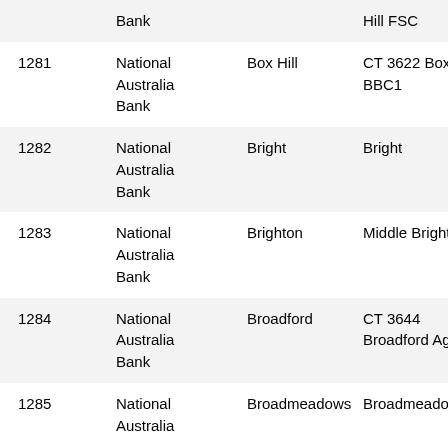| ID | Bank | Branch | Address | Phone |
| --- | --- | --- | --- | --- |
|  | National Australia Bank | Box Hill | Hill FSC | 16... |
| 1281 | National Australia Bank | Box Hill | CT 3622 Box Hill BBC1 | 08... 88... |
| 1282 | National Australia Bank | Bright | Bright | 08... 5... |
| 1283 | National Australia Bank | Brighton | Middle Brighton | 08... 2... |
| 1284 | National Australia Bank | Broadford | CT 3644 Broadford Agency | 08... 4... |
| 1285 | National Australia | Broadmeadows | Broadmeadows | 08... |